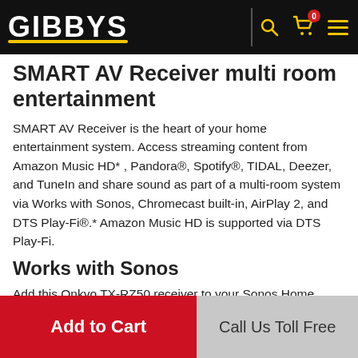GIBBYS navigation bar with logo, search, cart, and menu icons
SMART AV Receiver multi room entertainment
SMART AV Receiver is the heart of your home entertainment system. Access streaming content from Amazon Music HD* , Pandora®, Spotify®, TIDAL, Deezer, and TuneIn and share sound as part of a multi-room system via Works with Sonos, Chromecast built-in, AirPlay 2, and DTS Play-Fi®.* Amazon Music HD is supported via DTS Play-Fi.
Works with Sonos
Add this Onkyo TX-RZ50 receiver to your Sonos Home Sound System just by pairing it with a Sonos Connect or Port*. The AVR ties into the Sonos ecosystem, changing inputs and responding to volume commands from the Sonos app*.* Sonos Connect and Port sold separately. Connection of 1–3 Sonos devices is supported. Sonos app is available
Add to Cart | Call Us Toll Free